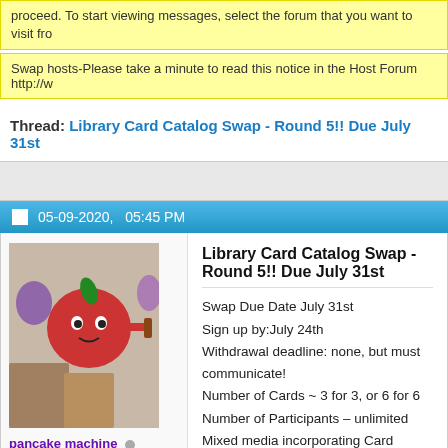proceed. To start viewing messages, select the forum that you want to visit from
Swap hosts-Please take a minute to read this notice in the Host Forum http://w
Thread: Library Card Catalog Swap - Round 5!! Due July 31st
05-09-2020,   05:45 PM
[Figure (photo): User avatar photo showing a cartoon apple character with crafting items]
pancake machine
The Dude abides
AFA Friend
Moderator
Library Card Catalog Swap - Round 5!! Due July 31st
Swap Due Date July 31st
Sign up by:July 24th
Withdrawal deadline: none, but must communicate!
Number of Cards ~ 3 for 3, or 6 for 6
Number of Participants – unlimited
Mixed media incorporating Card Catalogs